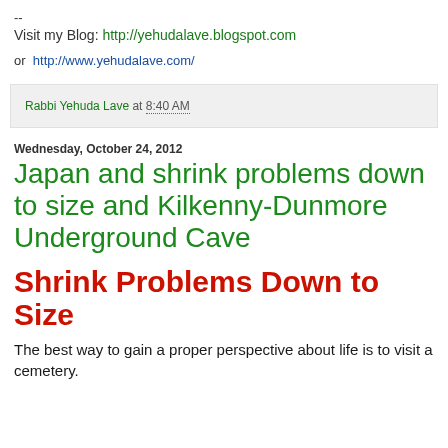--
Visit my Blog: http://yehudalave.blogspot.com
or http://www.yehudalave.com/
Rabbi Yehuda Lave at 8:40 AM
Wednesday, October 24, 2012
Japan and shrink problems down to size and Kilkenny-Dunmore Underground Cave
Shrink Problems Down to Size
The best way to gain a proper perspective about life is to visit a cemetery.